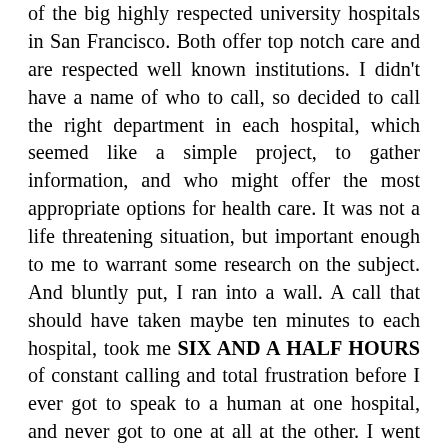of the big highly respected university hospitals in San Francisco. Both offer top notch care and are respected well known institutions. I didn't have a name of who to call, so decided to call the right department in each hospital, which seemed like a simple project, to gather information, and who might offer the most appropriate options for health care. It was not a life threatening situation, but important enough to me to warrant some research on the subject. And bluntly put, I ran into a wall. A call that should have taken maybe ten minutes to each hospital, took me SIX AND A HALF HOURS of constant calling and total frustration before I ever got to speak to a human at one hospital, and never got to one at all at the other. I went from one robot voice to the next, got shifted into dead end extensions, reached voice mails in some cases, pressed buttons, called new numbers, and it went on and on and on and on, until I finally reached a human at one of the two hospitals, and no one at the other. At the hospital where I got no human after all my calls, someone finally called me back the next day to tell me that my child had JUST